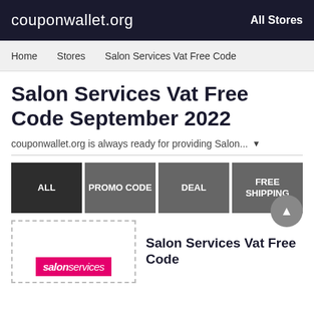couponwallet.org   All Stores
Home   Stores   Salon Services Vat Free Code
Salon Services Vat Free Code September 2022
couponwallet.org is always ready for providing Salon... ▼
ALL   PROMO CODE   DEAL   FREE SHIPPING
Salon Services Vat Free Code